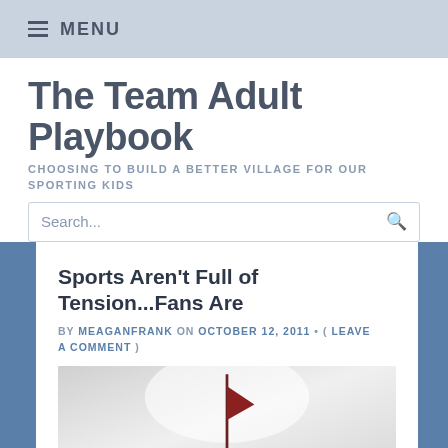≡ MENU
The Team Adult Playbook
CHOOSING TO BUILD A BETTER VILLAGE FOR OUR SPORTING KIDS
Sports Aren't Full of Tension...Fans Are
BY MEAGANFRANK ON OCTOBER 12, 2011 • ( LEAVE A COMMENT )
[Figure (photo): Outdoor photo showing a flag or pennant silhouetted against a bright hazy sky, possibly at a sporting event]